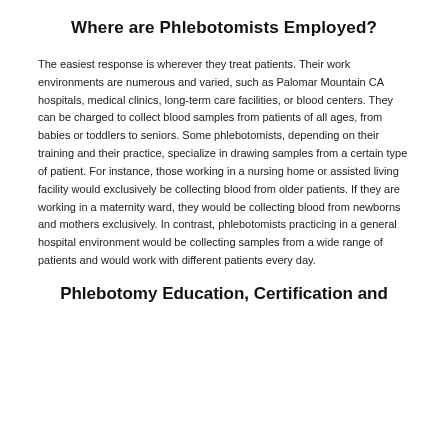Where are Phlebotomists Employed?
The easiest response is wherever they treat patients. Their work environments are numerous and varied, such as Palomar Mountain CA hospitals, medical clinics, long-term care facilities, or blood centers. They can be charged to collect blood samples from patients of all ages, from babies or toddlers to seniors. Some phlebotomists, depending on their training and their practice, specialize in drawing samples from a certain type of patient. For instance, those working in a nursing home or assisted living facility would exclusively be collecting blood from older patients. If they are working in a maternity ward, they would be collecting blood from newborns and mothers exclusively. In contrast, phlebotomists practicing in a general hospital environment would be collecting samples from a wide range of patients and would work with different patients every day.
Phlebotomy Education, Certification and